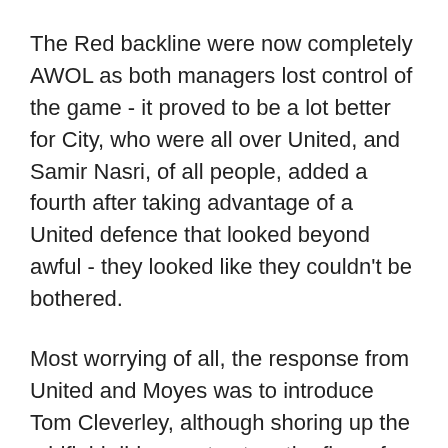The Red backline were now completely AWOL as both managers lost control of the game - it proved to be a lot better for City, who were all over United, and Samir Nasri, of all people, added a fourth after taking advantage of a United defence that looked beyond awful - they looked like they couldn't be bothered.
Most worrying of all, the response from United and Moyes was to introduce Tom Cleverley, although shoring up the midfield did seem to stem the flow of City attacks (although probably more down to City taking their foot off the pedal.) City didn't go close again until Edin Dzeko's fierce drive, from a counter-attack that was chillingly reminiscent of the 6-1, blasted straight at David de Gea, who spilled the ball but managed to pounce on it before it could roll over the